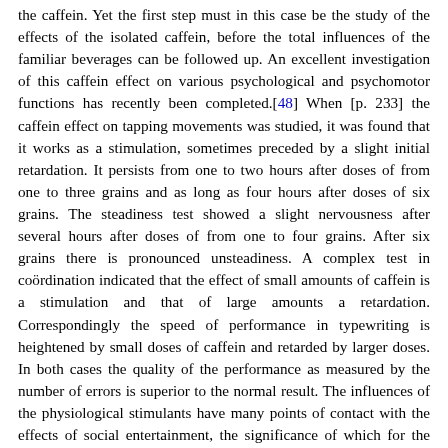the caffein. Yet the first step must in this case be the study of the effects of the isolated caffein, before the total influences of the familiar beverages can be followed up. An excellent investigation of this caffein effect on various psychological and psychomotor functions has recently been completed.[48] When [p. 233] the caffein effect on tapping movements was studied, it was found that it works as a stimulation, sometimes preceded by a slight initial retardation. It persists from one to two hours after doses of from one to three grains and as long as four hours after doses of six grains. The steadiness test showed a slight nervousness after several hours after doses of from one to four grains. After six grains there is pronounced unsteadiness. A complex test in coördination indicated that the effect of small amounts of caffein is a stimulation and that of large amounts a retardation. Correspondingly the speed of performance in typewriting is heightened by small doses of caffein and retarded by larger doses. In both cases the quality of the performance as measured by the number of errors is superior to the normal result. The influences of the physiological stimulants have many points of contact with the effects of social entertainment, the significance of which for the economic life is still rather unknown in any exact detail. Many factories in which the labor is noiseless, as in the making of cigars, have introduced gramophone music or reading aloud, and it is easy to understand theoretically that a certain animating effect results, which stimulates the whole psychophysical activity. But only the